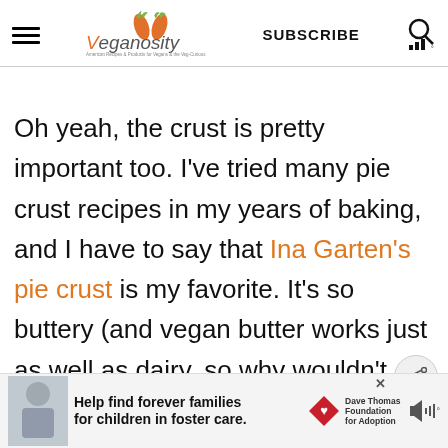Veganosity — SUBSCRIBE
Oh yeah, the crust is pretty important too. I've tried many pie crust recipes in my years of baking, and I have to say that Ina Garten's pie crust is my favorite. It's so buttery (and vegan butter works just as well as dairy, so why wouldn't you use non-dairy?) and flaky, and it's really easy to make and to work with. I'm not going to try and im…
[Figure (infographic): What's Next box with image of Crispy Deep Fried or Air... item]
[Figure (infographic): Advertisement bar: Help find forever families for children in foster care. Dave Thomas Foundation for Adoption.]